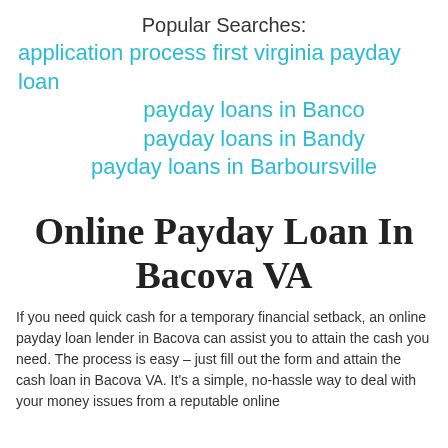Popular Searches:
application process first virginia payday loan
payday loans in Banco
payday loans in Bandy
payday loans in Barboursville
Online Payday Loan In Bacova VA
If you need quick cash for a temporary financial setback, an online payday loan lender in Bacova can assist you to attain the cash you need. The process is easy – just fill out the form and attain the cash loan in Bacova VA. It's a simple, no-hassle way to deal with your money issues from a reputable online